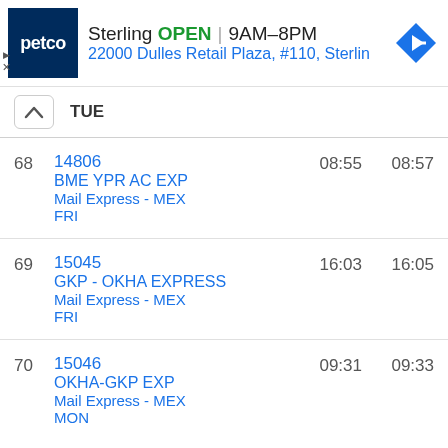[Figure (screenshot): Petco advertisement banner showing store name Sterling, status OPEN, hours 9AM-8PM, address 22000 Dulles Retail Plaza, #110, Sterlin, with Petco logo and navigation icon]
| # | Train | Arr | Dep |
| --- | --- | --- | --- |
| 68 | 14806
BME YPR AC EXP
Mail Express - MEX
FRI | 08:55 | 08:57 |
| 69 | 15045
GKP - OKHA EXPRESS
Mail Express - MEX
FRI | 16:03 | 16:05 |
| 70 | 15046
OKHA-GKP EXP
Mail Express - MEX
MON | 09:31 | 09:33 |